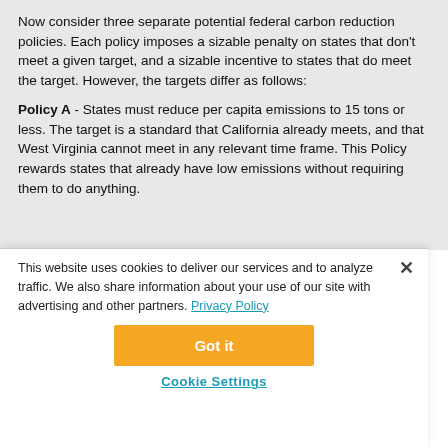Now consider three separate potential federal carbon reduction policies. Each policy imposes a sizable penalty on states that don't meet a given target, and a sizable incentive to states that do meet the target. However, the targets differ as follows:
Policy A - States must reduce per capita emissions to 15 tons or less. The target is a standard that California already meets, and that West Virginia cannot meet in any relevant time frame. This Policy rewards states that already have low emissions without requiring them to do anything.
This website uses cookies to deliver our services and to analyze traffic. We also share information about your use of our site with advertising and other partners. Privacy Policy
Got it
Cookie Settings